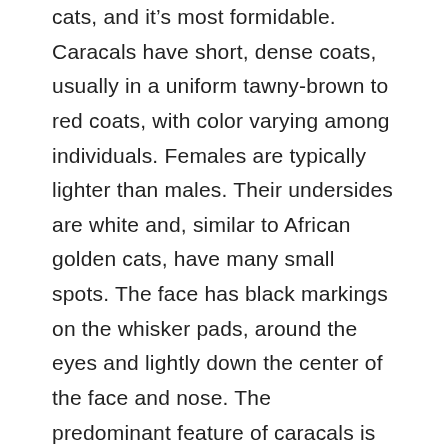cats, and it's most formidable. Caracals have short, dense coats, usually in a uniform tawny-brown to red coats, with color varying among individuals. Females are typically lighter than males. Their undersides are white and, similar to African golden cats, have many small spots. The face has black markings on the whisker pads, around the eyes and lightly down the center of the face and nose. The predominant feature of caracals is their elongated and tasseled, black-tufted ears. The legs are relatively long and the hind legs are disproportionately tall and well-muscled. Tail length ranges from 7″ to 13″. Eye color varies from golden to a greenish